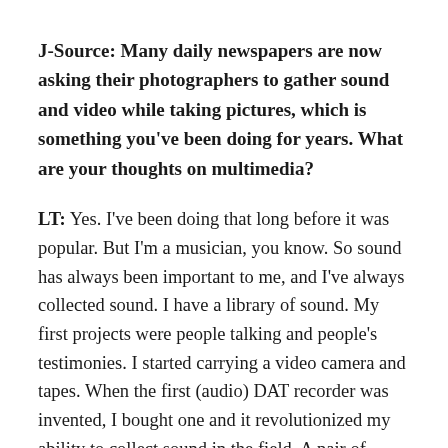J-Source: Many daily newspapers are now asking their photographers to gather sound and video while taking pictures, which is something you've been doing for years. What are your thoughts on multimedia?
LT: Yes. I've been doing that long before it was popular. But I'm a musician, you know. So sound has always been important to me, and I've always collected sound. I have a library of sound. My first projects were people talking and people's testimonies. I started carrying a video camera and tapes. When the first (audio) DAT recorder was invented, I bought one and it revolutionized my ability to collect sound in the field. A pair of headphones brings you into another world. I've always been a mixed